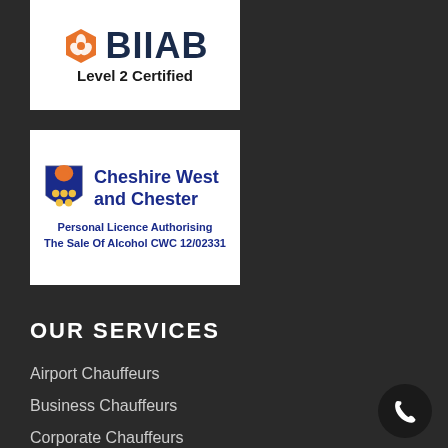[Figure (logo): BIIAB Level 2 Certified logo — orange hexagon/flower icon with BIIAB text and 'Level 2 Certified' below on white background]
[Figure (logo): Cheshire West and Chester council logo — lion and shield crest with text 'Cheshire West and Chester' and 'Personal Licence Authorising The Sale Of Alcohol CWC 12/02331' on white background]
OUR SERVICES
Airport Chauffeurs
Business Chauffeurs
Corporate Chauffeurs
Concert & Music Events Chauffeurs
Civil Partnership Ceremony Chauffeur